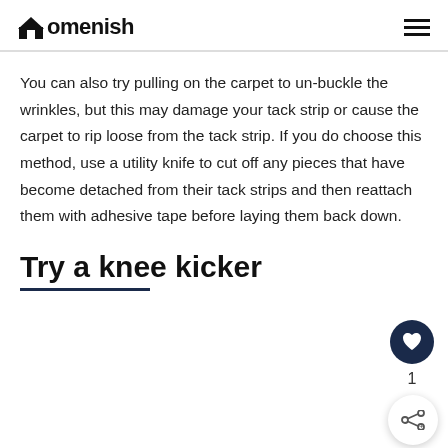Homenish
You can also try pulling on the carpet to un-buckle the wrinkles, but this may damage your tack strip or cause the carpet to rip loose from the tack strip. If you do choose this method, use a utility knife to cut off any pieces that have become detached from their tack strips and then reattach them with adhesive tape before laying them back down.
Try a knee kicker